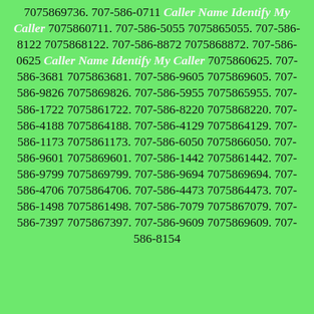7075869736. 707-586-0711 Caller Name Identify My Caller 7075860711. 707-586-5055 7075865055. 707-586-8122 7075868122. 707-586-8872 7075868872. 707-586-0625 Caller Name Identify My Caller 7075860625. 707-586-3681 7075863681. 707-586-9605 7075869605. 707-586-9826 7075869826. 707-586-5955 7075865955. 707-586-1722 7075861722. 707-586-8220 7075868220. 707-586-4188 7075864188. 707-586-4129 7075864129. 707-586-1173 7075861173. 707-586-6050 7075866050. 707-586-9601 7075869601. 707-586-1442 7075861442. 707-586-9799 7075869799. 707-586-9694 7075869694. 707-586-4706 7075864706. 707-586-4473 7075864473. 707-586-1498 7075861498. 707-586-7079 7075867079. 707-586-7397 7075867397. 707-586-9609 7075869609. 707-586-8154